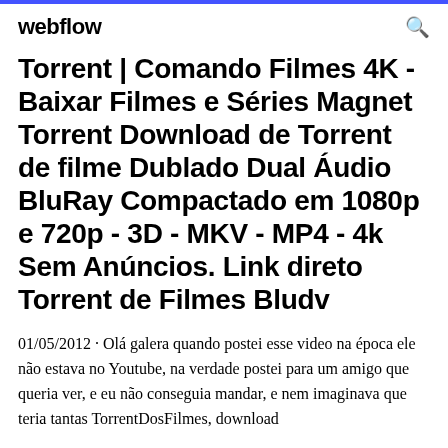webflow
Torrent | Comando Filmes 4K - Baixar Filmes e Séries Magnet Torrent Download de Torrent de filme Dublado Dual Áudio BluRay Compactado em 1080p e 720p - 3D - MKV - MP4 - 4k Sem Anúncios. Link direto Torrent de Filmes Bludv
01/05/2012 · Olá galera quando postei esse video na época ele não estava no Youtube, na verdade postei para um amigo que queria ver, e eu não conseguia mandar, e nem imaginava que teria tantas TorrentDosFilmes, download